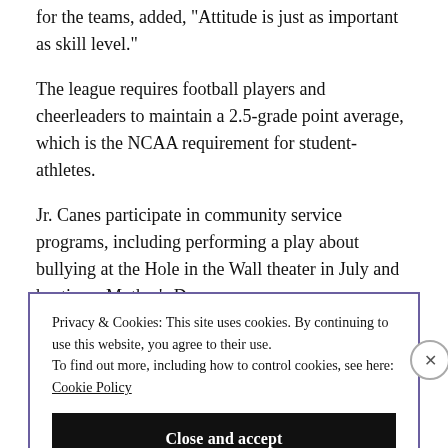for the teams, added, "Attitude is just as important as skill level."
The league requires football players and cheerleaders to maintain a 2.5-grade point average, which is the NCAA requirement for student-athletes.
Jr. Canes participate in community service programs, including performing a play about bullying at the Hole in the Wall theater in July and hosting a Mother's Day
Privacy & Cookies: This site uses cookies. By continuing to use this website, you agree to their use.
To find out more, including how to control cookies, see here:
Cookie Policy
Close and accept